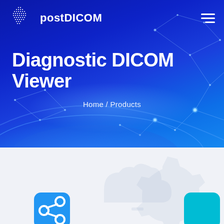[Figure (screenshot): postDICOM website header with logo and hamburger menu on blue gradient background with network/constellation graphic overlay]
Diagnostic DICOM Viewer
Home / Products
[Figure (illustration): Bottom section with light grey background showing partially visible feature icons: a blue share icon, a grey upload cloud icon, a grey settings/gear icon, and a teal icon on the right edge]